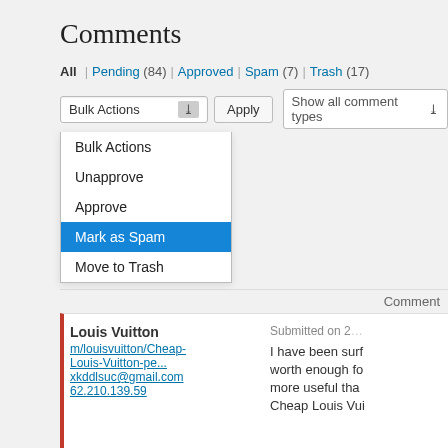Comments
All | Pending (84) | Approved | Spam (7) | Trash (17)
[Figure (screenshot): WordPress admin Comments page showing a Bulk Actions dropdown menu open with options: Bulk Actions, Unapprove, Approve, Mark as Spam (highlighted in blue), Move to Trash. Below is a table with comment entries for 'Louis Vuitton' and 'Louis Vuitton Brea GM price'.]